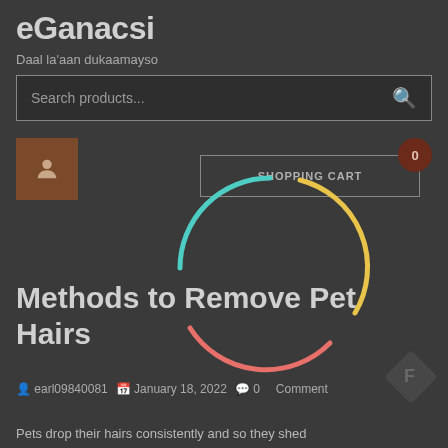eGanacsi
Daal la'aan dukaamayso
Search products...
[Figure (screenshot): User icon button (brown square with person silhouette)]
SHOPPING CART
0
[Figure (other): Loading spinner circle with green, yellow, and red arc segments]
Methods to Remove Pet Hairs
earl09840081  January 18, 2022  0 Comment
Pets drop their hairs consistently and so they shed